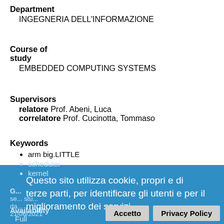Department
  INGEGNERIA DELL'INFORMAZIONE
Course of study
  EMBEDDED COMPUTING SYSTEMS
Supervisors
  relatore  Prof. Abeni, Luca
  correlatore  Prof. Cucinotta, Tommaso
Keywords
• arm big.LITTLE
• scheduler
• kernel
Questo sito utilizza cookie, propri e di terze parti, per identificare gli utenti e per il miglioramento dei servizi.
Availability
  Full